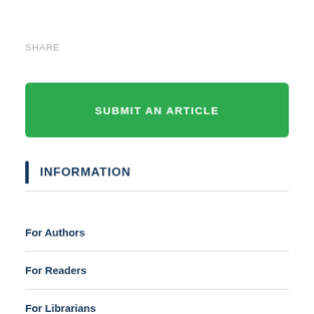SHARE
SUBMIT AN ARTICLE
INFORMATION
For Authors
For Readers
For Librarians